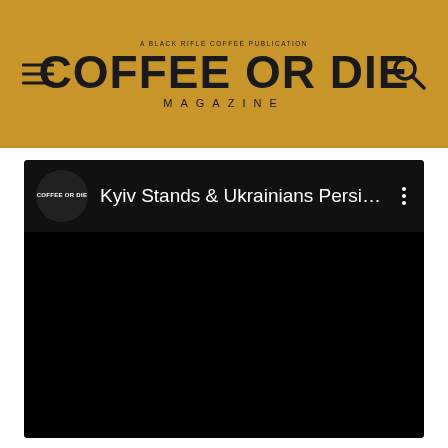COFFEE OR DIE MAGAZINE
[Figure (screenshot): YouTube-style video player showing a Coffee or Die channel video titled 'Kyiv Stands & Ukrainians Persist a...' with black video content area]